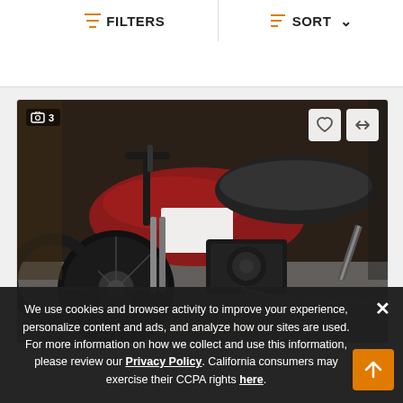FILTERS   SORT
[Figure (photo): Close-up photograph of a red and black Harley-Davidson style motorcycle in a dealer showroom, showing the seat, fuel tank, engine, and handlebars. Photo count badge shows 3 images. Heart (favorite) and compare (arrows) action buttons visible in top corners of the image.]
We use cookies and browser activity to improve your experience, personalize content and ads, and analyze how our sites are used. For more information on how we collect and use this information, please review our Privacy Policy. California consumers may exercise their CCPA rights here.